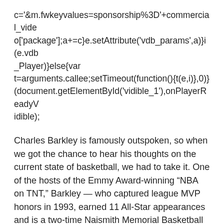c='&m.fwkeyvalues=sponsorship%3D'+commercial_video['package'];a+=c}e.setAttribute('vdb_params',a)}i(e.vdb_Player)}else{var t=arguments.callee;setTimeout(function(){t(e,i)},0)}(document.getElementById('vidible_1'),onPlayerReadyVidible);
Charles Barkley is famously outspoken, so when we got the chance to hear his thoughts on the current state of basketball, we had to take it. One of the hosts of the Emmy Award-winning “NBA on TNT,” Barkley — who captured league MVP honors in 1993, earned 11 All-Star appearances and is a two-time Naismith Memorial Basketball Hall of Fame inductee — spoke with The Huffington Post recently to discuss Cleveland’s struggles, why the race for the championship is only between three teams and what is wrong with today’s NBA.